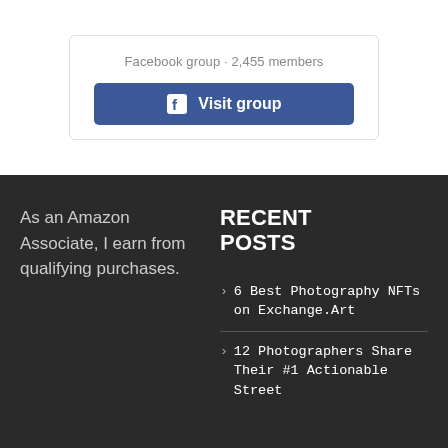Facebook group · 2,455 members
[Figure (other): Facebook Visit group button with Facebook logo icon]
As an Amazon Associate, I earn from qualifying purchases.
RECENT POSTS
6 Best Photography NFTs on Exchange.Art
12 Photographers Share Their #1 Actionable Street